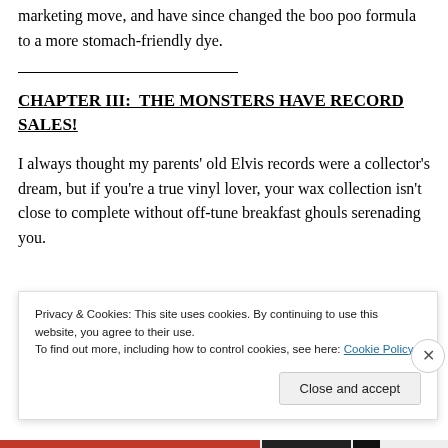marketing move, and have since changed the boo poo formula to a more stomach-friendly dye.
CHAPTER III:  THE MONSTERS HAVE RECORD SALES!
I always thought my parents' old Elvis records were a collector's dream, but if you're a true vinyl lover, your wax collection isn't close to complete without off-tune breakfast ghouls serenading you.
Privacy & Cookies: This site uses cookies. By continuing to use this website, you agree to their use.
To find out more, including how to control cookies, see here: Cookie Policy